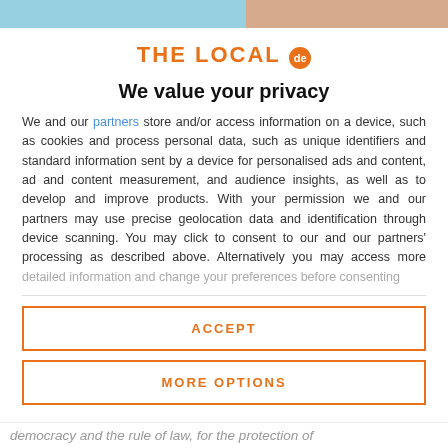[Figure (other): Top decorative image strip with teal and brown/orange sections]
THE LOCAL de
We value your privacy
We and our partners store and/or access information on a device, such as cookies and process personal data, such as unique identifiers and standard information sent by a device for personalised ads and content, ad and content measurement, and audience insights, as well as to develop and improve products. With your permission we and our partners may use precise geolocation data and identification through device scanning. You may click to consent to our and our partners' processing as described above. Alternatively you may access more detailed information and change your preferences before consenting
ACCEPT
MORE OPTIONS
democracy and the rule of law, for the protection of